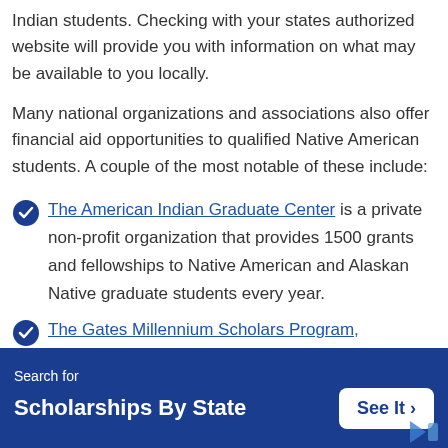Indian students. Checking with your states authorized website will provide you with information on what may be available to you locally.
Many national organizations and associations also offer financial aid opportunities to qualified Native American students. A couple of the most notable of these include:
The American Indian Graduate Center is a private non-profit organization that provides 1500 grants and fellowships to Native American and Alaskan Native graduate students every year.
The Gates Millennium Scholars Program, sponsored by the Bill and Amanda Gates
Search for
Scholarships By State
See It >